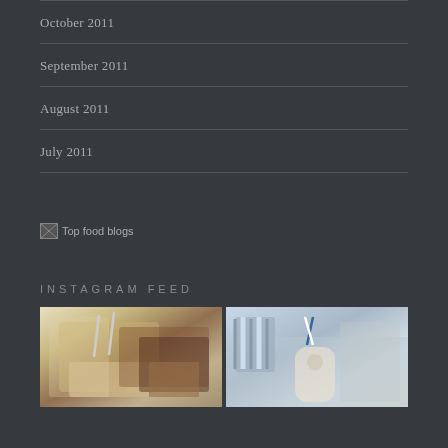October 2011
September 2011
August 2011
July 2011
[Figure (other): Broken image placeholder with alt text 'Top food blogs']
INSTAGRAM FEED
[Figure (photo): Instagram feed photo 1: food items including baked goods in a wooden tray or box]
[Figure (photo): Instagram feed photo 2: a drink with a straw and striped pillows in background on a couch]